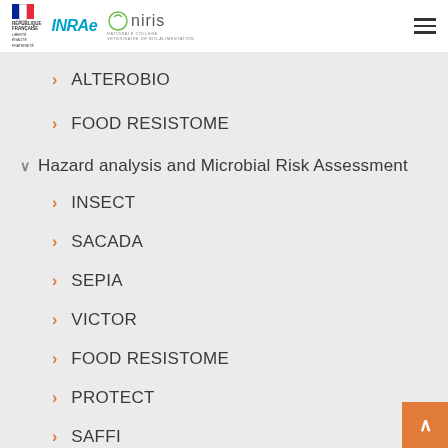République Française | INRAE | Oniris
ALTEROBIO
FOOD RESISTOME
Hazard analysis and Microbial Risk Assessment
INSECT
SACADA
SEPIA
VICTOR
FOOD RESISTOME
PROTECT
SAFFI
BIOMICS
REDLOSSES